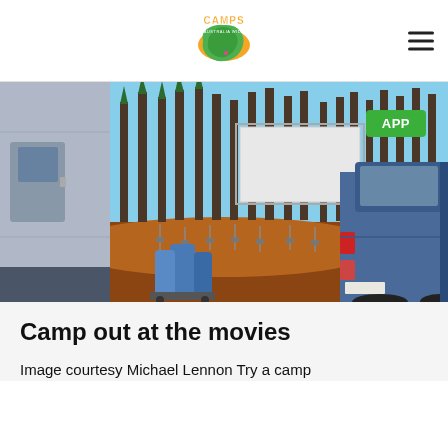Camps Australia Wide
[Figure (photo): A drive-in movie scene showing a caravan/camper on the left, a blue SUV on the right, a large white movie screen in the background, tall pine trees, red dirt ground with speaker posts, and gas cylinders on a cart in the foreground. A green APP badge is visible in the top right corner of the photo.]
Camp out at the movies
Image courtesy Michael Lennon Try a camp